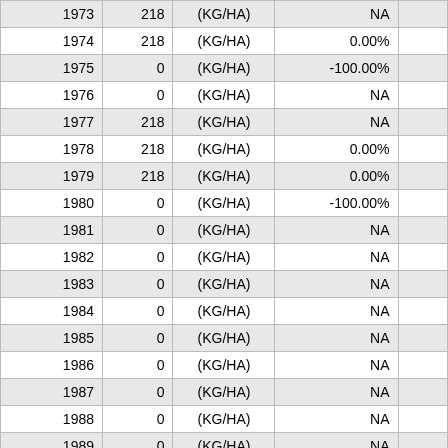| Year | Value | Unit | Change |  |
| --- | --- | --- | --- | --- |
| 1973 | 218 | (KG/HA) | NA |  |
| 1974 | 218 | (KG/HA) | 0.00% |  |
| 1975 | 0 | (KG/HA) | -100.00% |  |
| 1976 | 0 | (KG/HA) | NA |  |
| 1977 | 218 | (KG/HA) | NA |  |
| 1978 | 218 | (KG/HA) | 0.00% |  |
| 1979 | 218 | (KG/HA) | 0.00% |  |
| 1980 | 0 | (KG/HA) | -100.00% |  |
| 1981 | 0 | (KG/HA) | NA |  |
| 1982 | 0 | (KG/HA) | NA |  |
| 1983 | 0 | (KG/HA) | NA |  |
| 1984 | 0 | (KG/HA) | NA |  |
| 1985 | 0 | (KG/HA) | NA |  |
| 1986 | 0 | (KG/HA) | NA |  |
| 1987 | 0 | (KG/HA) | NA |  |
| 1988 | 0 | (KG/HA) | NA |  |
| 1989 | 0 | (KG/HA) | NA |  |
| 1990 | 0 | (KG/HA) | NA |  |
| 1991 | 0 | (KG/HA) | NA |  |